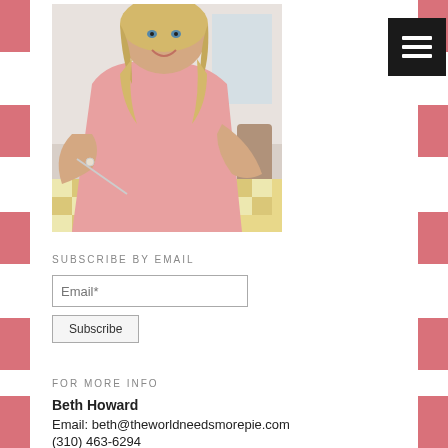[Figure (photo): A smiling blonde woman in a pink short-sleeve dress sitting at a table with a piece of pie on a plate, eating with a fork]
[Figure (other): Dark gray/black menu button with three horizontal white lines (hamburger icon)]
SUBSCRIBE BY EMAIL
Email*
Subscribe
FOR MORE INFO
Beth Howard
Email: beth@theworldneedsmorepie.com
(310) 463-6294